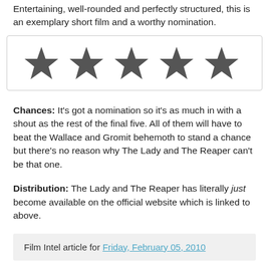Entertaining, well-rounded and perfectly structured, this is an exemplary short film and a worthy nomination.
[Figure (other): Five filled star rating icons displayed in a bordered box]
Chances: It's got a nomination so it's as much in with a shout as the rest of the final five. All of them will have to beat the Wallace and Gromit behemoth to stand a chance but there's no reason why The Lady and The Reaper can't be that one.
Distribution: The Lady and The Reaper has literally just become available on the official website which is linked to above.
Film Intel article for Friday, February 05, 2010
1 comment: